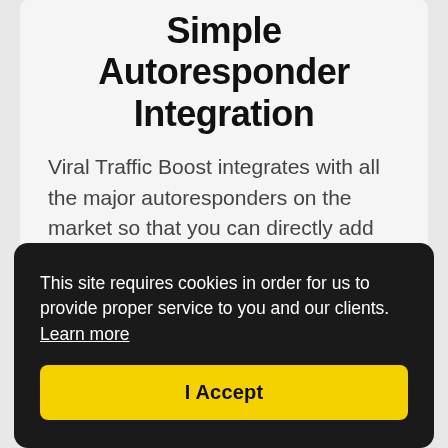Simple Autoresponder Integration
Viral Traffic Boost integrates with all the major autoresponders on the market so that you can directly add YOUR leads to any list you
This site requires cookies in order for us to provide proper service to you and our clients. Learn more
I Accept